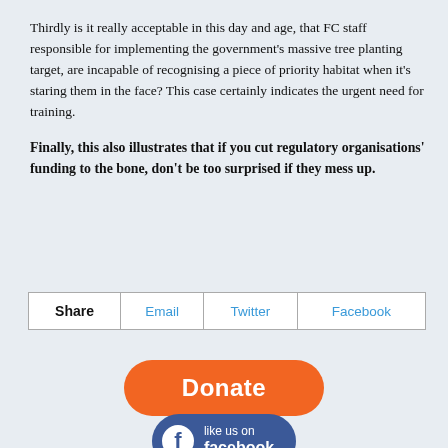Thirdly is it really acceptable in this day and age, that FC staff responsible for implementing the government's massive tree planting target, are incapable of recognising a piece of priority habitat when it's staring them in the face? This case certainly indicates the urgent need for training.
Finally, this also illustrates that if you cut regulatory organisations' funding to the bone, don't be too surprised if they mess up.
| Share | Email | Twitter | Facebook |
| --- | --- | --- | --- |
[Figure (other): Orange rounded rectangle Donate button]
[Figure (other): Blue rounded rectangle Facebook like us on facebook button with Facebook logo icon]